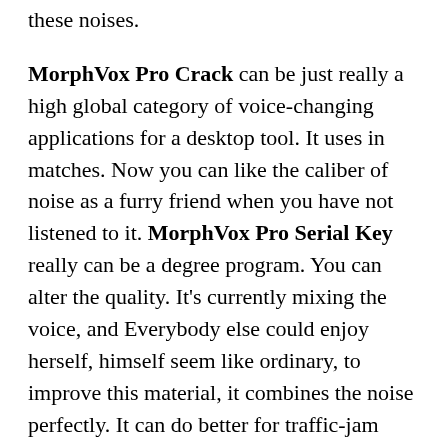these noises.
MorphVox Pro Crack can be just really a high global category of voice-changing applications for a desktop tool. It uses in matches. Now you can like the caliber of noise as a furry friend when you have not listened to it. MorphVox Pro Serial Key really can be a degree program. You can alter the quality. It’s currently mixing the voice, and Everybody else could enjoy herself, himself seem like ordinary, to improve this material, it combines the noise perfectly. It can do better for traffic-jam signal drop and warms up the sound using alterations.